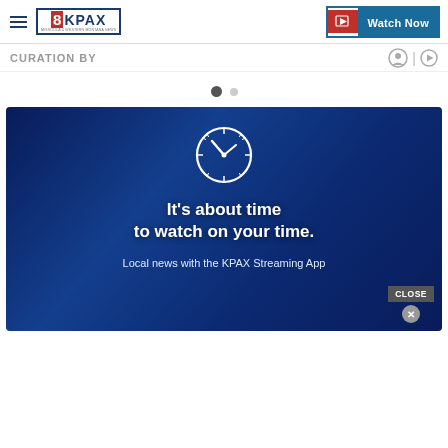8KPAX — Watch Now
CURATION BY
[Figure (screenshot): Navigation dots: one filled dark dot and one smaller light dot, carousel indicators]
[Figure (infographic): KPAX Streaming App advertisement banner with dark blue background showing a clock icon and text: It's about time to watch on your time. Local news with the KPAX Streaming App. A CLOSE button with X is visible at bottom right.]